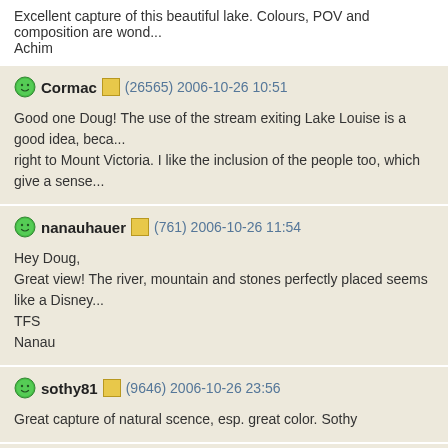Excellent capture of this beautiful lake. Colours, POV and composition are wond...
Achim
Cormac (26565) 2006-10-26 10:51
Good one Doug! The use of the stream exiting Lake Louise is a good idea, beca... right to Mount Victoria. I like the inclusion of the people too, which give a sense...
nanauhauer (761) 2006-10-26 11:54
Hey Doug,
Great view! The river, mountain and stones perfectly placed seems like a Disney...
TFS
Nanau
sothy81 (9646) 2006-10-26 23:56
Great capture of natural scence, esp. great color. Sothy
danyy (0) 2006-10-28 13:31